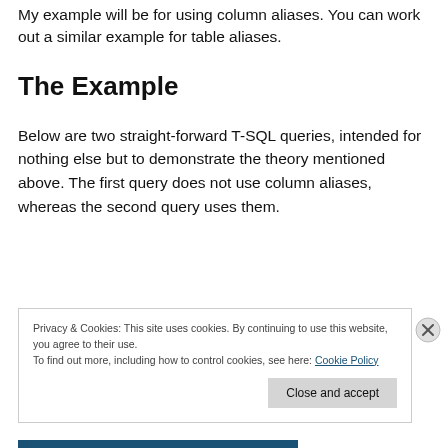My example will be for using column aliases. You can work out a similar example for table aliases.
The Example
Below are two straight-forward T-SQL queries, intended for nothing else but to demonstrate the theory mentioned above. The first query does not use column aliases, whereas the second query uses them.
Privacy & Cookies: This site uses cookies. By continuing to use this website, you agree to their use.
To find out more, including how to control cookies, see here: Cookie Policy